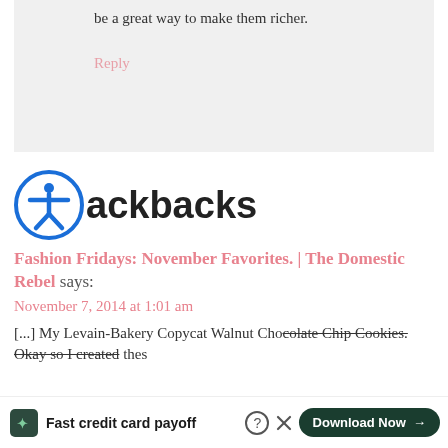be a great way to make them richer.
Reply
Trackbacks
Fashion Fridays: November Favorites. | The Domestic Rebel says:
November 7, 2014 at 1:01 am
[...] My Levain-Bakery Copycat Walnut Chocolate Chip Cookies. Okay so I created these
[Figure (infographic): Tally app advertisement bar at bottom: green Tally logo icon, text 'Fast credit card payoff', Download Now button, help and close icons]